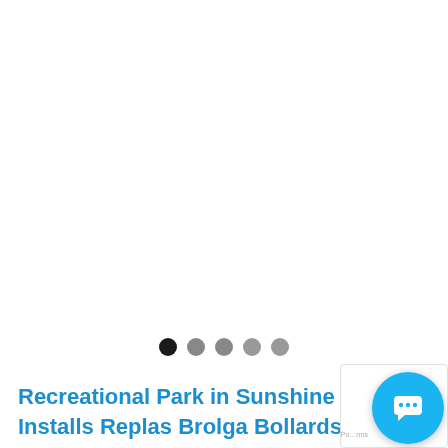[Figure (other): Image carousel with 5 navigation dots; first dot is black (active), remaining four are grey (inactive). Large white/blank image area above the dots.]
Recreational Park in Sunshine Coast Installs Replas Brolga Bollards
[Figure (other): Live chat widget button — circular blue button with a white speech bubble / chat icon, positioned in the bottom-right corner. Contains small 'Powered by' text label.]